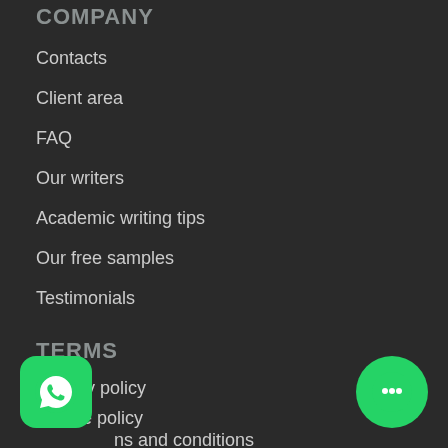COMPANY
Contacts
Client area
FAQ
Our writers
Academic writing tips
Our free samples
Testimonials
TERMS
Privacy policy
Cookie policy
Terms and conditions
Revision policy